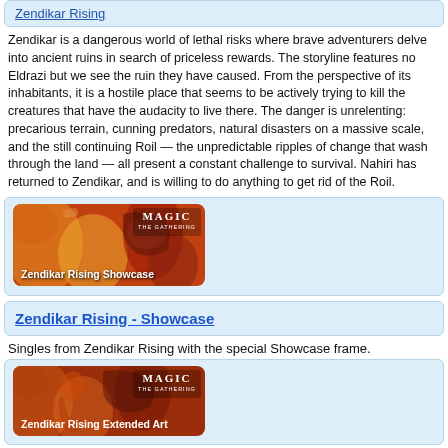Zendikar Rising
Zendikar is a dangerous world of lethal risks where brave adventurers delve into ancient ruins in search of priceless rewards. The storyline features no Eldrazi but we see the ruin they have caused. From the perspective of its inhabitants, it is a hostile place that seems to be actively trying to kill the creatures that have the audacity to live there. The danger is unrelenting: precarious terrain, cunning predators, natural disasters on a massive scale, and the still continuing Roil — the unpredictable ripples of change that wash through the land — all present a constant challenge to survival. Nahiri has returned to Zendikar, and is willing to do anything to get rid of the Roil.
[Figure (illustration): Zendikar Rising Showcase card art banner with Magic: The Gathering logo]
Zendikar Rising - Showcase
Singles from Zendikar Rising with the special Showcase frame.
[Figure (illustration): Zendikar Rising Extended Art card art banner with Magic: The Gathering logo]